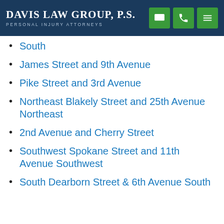Davis Law Group, P.S. — Personal Injury Attorneys
South
James Street and 9th Avenue
Pike Street and 3rd Avenue
Northeast Blakely Street and 25th Avenue Northeast
2nd Avenue and Cherry Street
Southwest Spokane Street and 11th Avenue Southwest
South Dearborn Street & 6th Avenue South